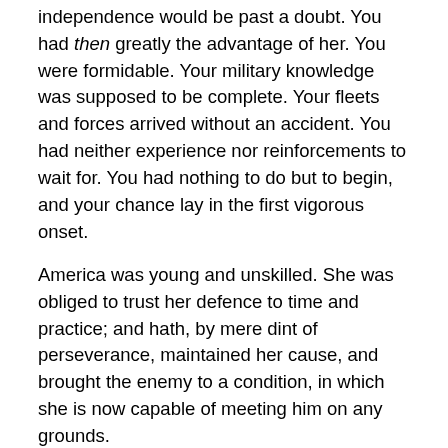independence would be past a doubt. You had then greatly the advantage of her. You were formidable. Your military knowledge was supposed to be complete. Your fleets and forces arrived without an accident. You had neither experience nor reinforcements to wait for. You had nothing to do but to begin, and your chance lay in the first vigorous onset.
America was young and unskilled. She was obliged to trust her defence to time and practice; and hath, by mere dint of perseverance, maintained her cause, and brought the enemy to a condition, in which she is now capable of meeting him on any grounds.
It is remarkable that in the campaign of seventy-six, you gained no more, notwithstanding your great force, than what was given you by consent of evacuation, except Fort Washington: While every advantage obtained by us was by fair and hard fighting. The defeat of Sir Peter Parker was compleat. The conquest of the Hessians at Trenton by